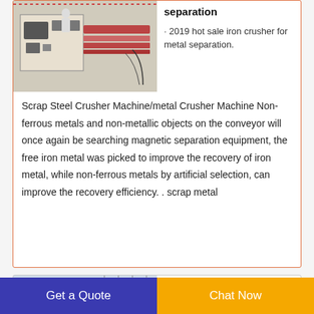[Figure (photo): Industrial iron crusher machine equipment photo]
separation
· 2019 hot sale iron crusher for metal separation.
Scrap Steel Crusher Machine/metal Crusher Machine Non-ferrous metals and non-metallic objects on the conveyor will once again be searching magnetic separation equipment, the free iron metal was picked to improve the recovery of iron metal, while non-ferrous metals by artificial selection, can improve the recovery efficiency. . scrap metal
[Figure (photo): Gold supplier Paper Mill building exterior photo]
gold supplier Paper Mill